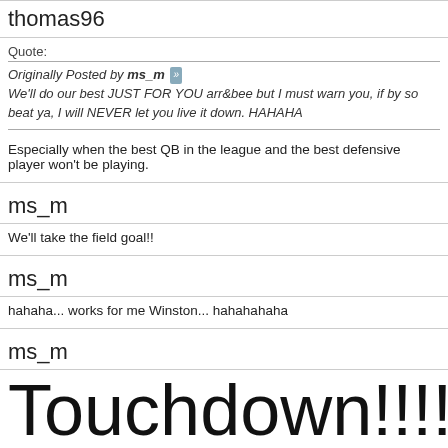thomas96
Quote:
Originally Posted by ms_m
We'll do our best JUST FOR YOU arr&bee but I must warn you, if by so... beat ya, I will NEVER let you live it down. HAHAHA
Especially when the best QB in the league and the best defensive player won't be playing.
ms_m
We'll take the field goal!!
ms_m
hahaha... works for me Winston... hahahahaha
ms_m
Touchdown!!!!!!!!!